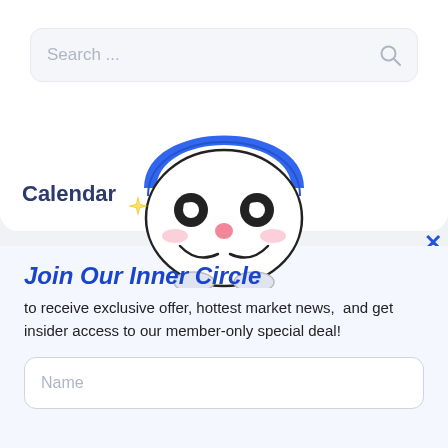[Figure (screenshot): Search bar UI element with placeholder text 'Search ...' and a magnifying glass icon on a light gray background]
Calendar
[Figure (illustration): Cute cartoon mascot character with a blue hat/hair, large round eyes, pink cheeks, a small pink nose, smiling expression, and a golden sparkle on the left side. White rounded body with small feet.]
Join Our Inner Circle
to receive exclusive offer, hottest market news,  and get insider access to our member-only special deal!
Name